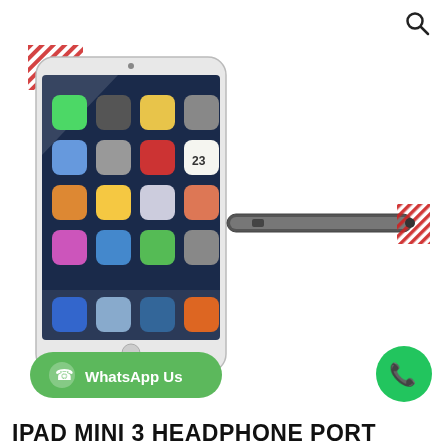[Figure (photo): iPad Mini 3 front view showing home screen with app icons, white/silver color, with red hatched annotation mark at top-left corner]
[Figure (photo): iPad Mini 3 side/thin profile view in dark gray/space gray color, with red hatched annotation mark at right end indicating headphone port location]
[Figure (other): WhatsApp Us green rounded button with WhatsApp logo icon]
[Figure (other): Green circle phone call button with telephone handset icon]
IPAD MINI 3 HEADPHONE PORT